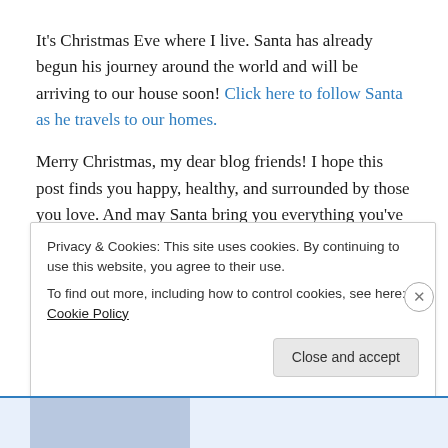It's Christmas Eve where I live. Santa has already begun his journey around the world and will be arriving to our house soon! Click here to follow Santa as he travels to our homes.
Merry Christmas, my dear blog friends! I hope this post finds you happy, healthy, and surrounded by those you love. And may Santa bring you everything you've asked for!
Privacy & Cookies: This site uses cookies. By continuing to use this website, you agree to their use. To find out more, including how to control cookies, see here: Cookie Policy